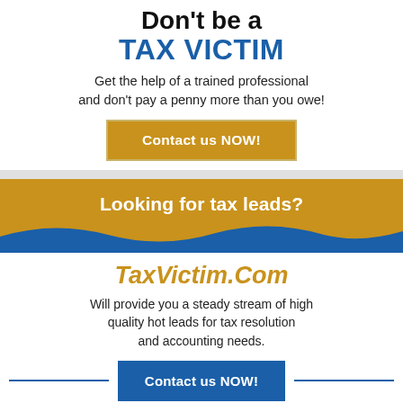Don't be a TAX VICTIM
Get the help of a trained professional and don't pay a penny more than you owe!
Contact us NOW!
[Figure (other): Gold and blue banner with text 'Looking for tax leads?' and a blue wave design]
TaxVictim.Com
Will provide you a steady stream of high quality hot leads for tax resolution and accounting needs.
Contact us NOW!
to Learn More